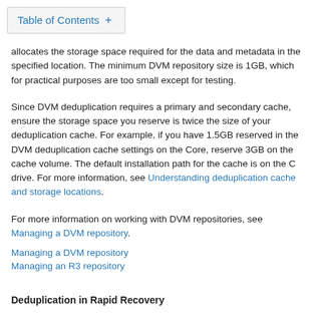Table of Contents +
allocates the storage space required for the data and metadata in the specified location. The minimum DVM repository size is 1GB, which for practical purposes are too small except for testing.
Since DVM deduplication requires a primary and secondary cache, ensure the storage space you reserve is twice the size of your deduplication cache. For example, if you have 1.5GB reserved in the DVM deduplication cache settings on the Core, reserve 3GB on the cache volume. The default installation path for the cache is on the C drive. For more information, see Understanding deduplication cache and storage locations.
For more information on working with DVM repositories, see Managing a DVM repository.
Managing a DVM repository
Managing an R3 repository
Deduplication in Rapid Recovery